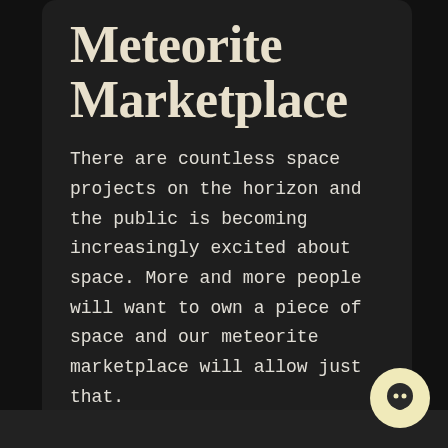Meteorite Marketplace
There are countless space projects on the horizon and the public is becoming increasingly excited about space. More and more people will want to own a piece of space and our meteorite marketplace will allow just that.
[Figure (illustration): Yellow/cream circular chat bubble icon button in the bottom right corner]